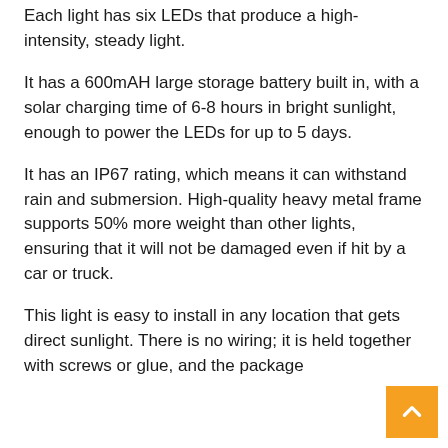Each light has six LEDs that produce a high-intensity, steady light.
It has a 600mAH large storage battery built in, with a solar charging time of 6-8 hours in bright sunlight, enough to power the LEDs for up to 5 days.
It has an IP67 rating, which means it can withstand rain and submersion. High-quality heavy metal frame supports 50% more weight than other lights, ensuring that it will not be damaged even if hit by a car or truck.
This light is easy to install in any location that gets direct sunlight. There is no wiring; it is held together with screws or glue, and the package